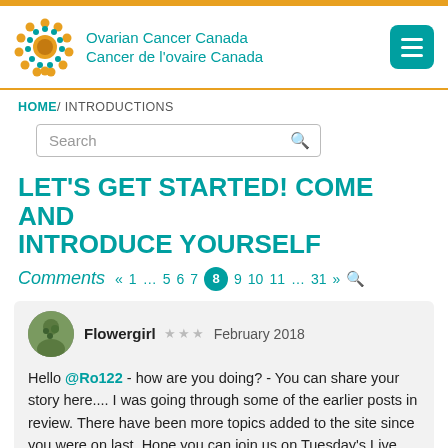Ovarian Cancer Canada / Cancer de l'ovaire Canada
HOME/ INTRODUCTIONS
LET'S GET STARTED! COME AND INTRODUCE YOURSELF
Comments  «  1  …  5  6  7  8  9  10  11  …  31  »  🔍
Flowergirl ★★★ February 2018
Hello @Ro122 - how are you doing?  - You can share your story here.... I was going through some of the earlier posts in review. There have been more topics added to the site since you were on last. Hope you can join us on Tuesday's Live Chat at 7:00 PMCST